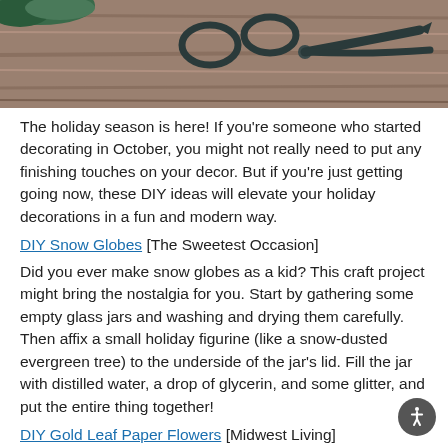[Figure (photo): Close-up photo of dark metal scissors/shears lying on a wooden surface, with some green foliage visible in the top left corner.]
The holiday season is here! If you're someone who started decorating in October, you might not really need to put any finishing touches on your decor. But if you're just getting going now, these DIY ideas will elevate your holiday decorations in a fun and modern way.
DIY Snow Globes [The Sweetest Occasion]
Did you ever make snow globes as a kid? This craft project might bring the nostalgia for you. Start by gathering some empty glass jars and washing and drying them carefully. Then affix a small holiday figurine (like a snow-dusted evergreen tree) to the underside of the jar's lid. Fill the jar with distilled water, a drop of glycerin, and some glitter, and put the entire thing together!
DIY Gold Leaf Paper Flowers [Midwest Living]
Looking for an extra-special way to decorate the tree or your holiday gifts? Add a personal touch with these handcrafted flowers. Print the template on Kraft paper and then use glue to coat the flowers with gold leaf, creating glitzy florals for your holiday decor.